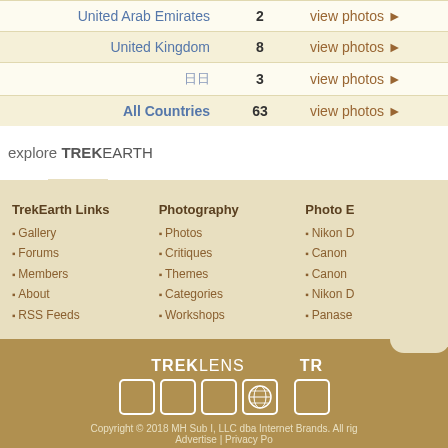| United Arab Emirates | 2 | view photos ▶ |
| United Kingdom | 8 | view photos ▶ |
| 日日 | 3 | view photos ▶ |
| All Countries | 63 | view photos ▶ |
explore TREKEARTH
TrekEarth Links
Gallery
Forums
Members
About
RSS Feeds
Photography
Photos
Critiques
Themes
Categories
Workshops
Photo E
Nikon D
Canon
Canon
Nikon D
Panase
[Figure (logo): TrekLens logo with icon grid and partial TrekEarth logo]
Copyright © 2018 MH Sub I, LLC dba Internet Brands. All rig Advertise | Privacy Po